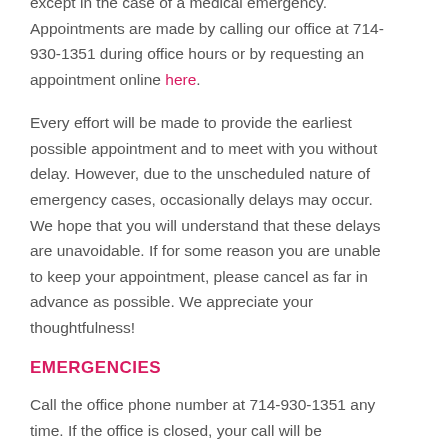except in the case of a medical emergency. Appointments are made by calling our office at 714-930-1351 during office hours or by requesting an appointment online here.
Every effort will be made to provide the earliest possible appointment and to meet with you without delay. However, due to the unscheduled nature of emergency cases, occasionally delays may occur. We hope that you will understand that these delays are unavoidable. If for some reason you are unable to keep your appointment, please cancel as far in advance as possible. We appreciate your thoughtfulness!
EMERGENCIES
Call the office phone number at 714-930-1351 any time. If the office is closed, your call will be answered